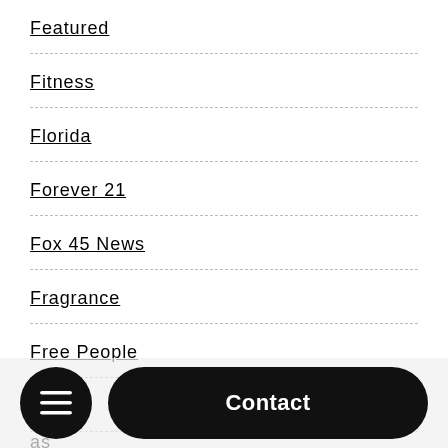Featured
Fitness
Florida
Forever 21
Fox 45 News
Fragrance
Free People
Fuse
as
Contact